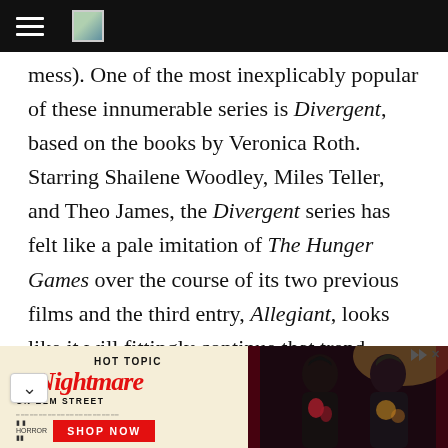[Navigation bar with hamburger menu and logo]
mess). One of the most inexplicably popular of these innumerable series is Divergent, based on the books by Veronica Roth. Starring Shailene Woodley, Miles Teller, and Theo James, the Divergent series has felt like a pale imitation of The Hunger Games over the course of its two previous films and the third entry, Allegiant, looks like it will fittingly continue that trend. While The Hunger Games series actually used its muted, drab tones to tell an interesting story, Divergent has just felt stale and uninteresting so far it's difficult to think that Allegiant will reverse
[Figure (infographic): Hot Topic advertisement for A Nightmare on Elm Street merchandise with Shop Now button and photo of two young people in dark clothing]